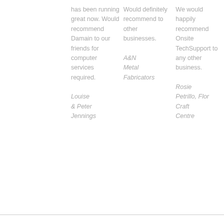has been running great now. Would recommend Damain to our friends for computer services required.

Louise & Peter Jennings
Would definitely recommend to other businesses.

A&N Metal Fabricators
We would happily recommend Onsite TechSupport to any other business.

Rosie Petrillo, Flor Craft Centre